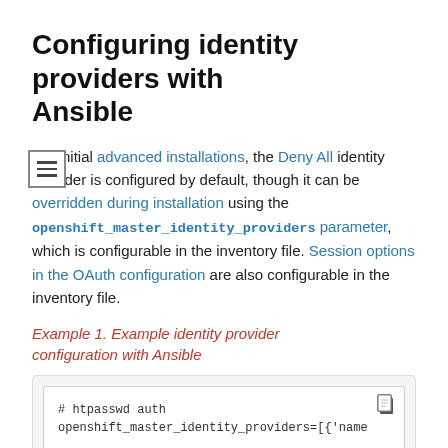Configuring identity providers with Ansible
For initial advanced installations, the Deny All identity provider is configured by default, though it can be overridden during installation using the openshift_master_identity_providers parameter, which is configurable in the inventory file. Session options in the OAuth configuration are also configurable in the inventory file.
Example 1. Example identity provider configuration with Ansible
[Figure (screenshot): Code block showing: # htpasswd auth / openshift_master_identity_providers=[{'name]